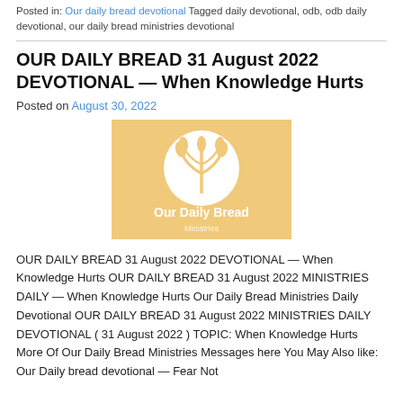Posted in: Our daily bread devotional Tagged daily devotional, odb, odb daily devotional, our daily bread ministries devotional
OUR DAILY BREAD 31 August 2022 DEVOTIONAL — When Knowledge Hurts
Posted on August 30, 2022
[Figure (logo): Our Daily Bread Ministries logo on orange/tan background with wheat stalk inside a white circle and text 'Our Daily Bread' below]
OUR DAILY BREAD 31 August 2022 DEVOTIONAL — When Knowledge Hurts OUR DAILY BREAD 31 August 2022 MINISTRIES DAILY — When Knowledge Hurts Our Daily Bread Ministries Daily Devotional OUR DAILY BREAD 31 August 2022 MINISTRIES DAILY DEVOTIONAL ( 31 August 2022 ) TOPIC: When Knowledge Hurts More Of Our Daily Bread Ministries Messages here You May Also like: Our Daily bread devotional — Fear Not